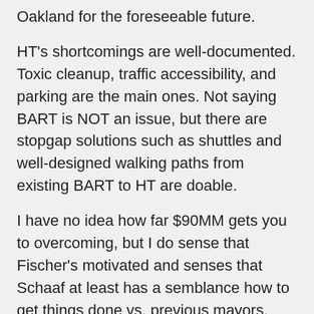Oakland for the foreseeable future.
HT's shortcomings are well-documented. Toxic cleanup, traffic accessibility, and parking are the main ones. Not saying BART is NOT an issue, but there are stopgap solutions such as shuttles and well-designed walking paths from existing BART to HT are doable.
I have no idea how far $90MM gets you to overcoming, but I do sense that Fischer's motivated and senses that Schaaf at least has a semblance how to get things done vs. previous mayors. Fischer taking a more active role in negotiations vs. Wolfe is in my estimation a positive development.